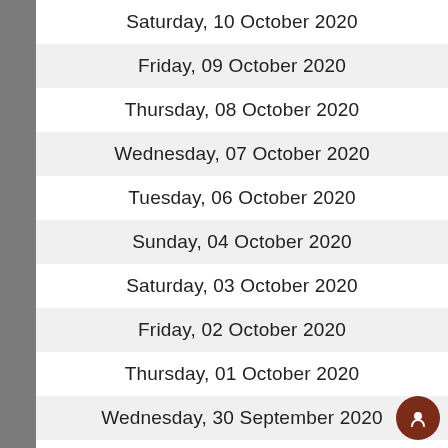Saturday, 10 October 2020
Friday, 09 October 2020
Thursday, 08 October 2020
Wednesday, 07 October 2020
Tuesday, 06 October 2020
Sunday, 04 October 2020
Saturday, 03 October 2020
Friday, 02 October 2020
Thursday, 01 October 2020
Wednesday, 30 September 2020